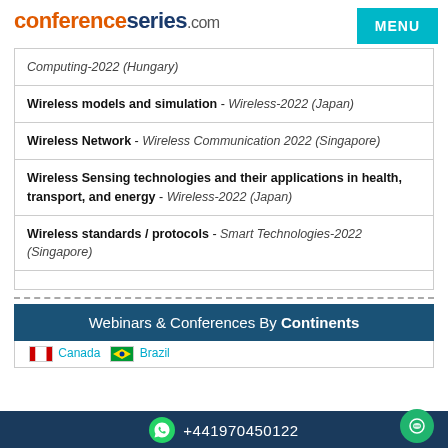conferenceseries.com
Computing-2022 (Hungary)
Wireless models and simulation - Wireless-2022 (Japan)
Wireless Network - Wireless Communication 2022 (Singapore)
Wireless Sensing technologies and their applications in health, transport, and energy - Wireless-2022 (Japan)
Wireless standards / protocols - Smart Technologies-2022 (Singapore)
Webinars & Conferences By Continents
Canada   Brazil
+441970450122